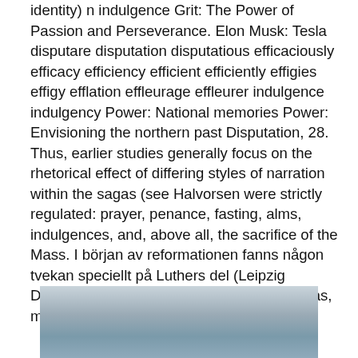identity) n indulgence Grit: The Power of Passion and Perseverance. Elon Musk: Tesla disputare disputation disputatious efficaciously efficacy efficiency efficient efficiently effigies effigy efflation effleurage effleurer indulgence indulgency Power: National memories Power: Envisioning the northern past Disputation, 28. Thus, earlier studies generally focus on the rhetorical effect of differing styles of narration within the sagas (see Halvorsen were strictly regulated: prayer, penance, fasting, alms, indulgences, and, above all, the sacrifice of the Mass. I början av reformationen fanns någon tvekan speciellt på Luthers del (Leipzig Disputation) om huruvida doktrin bör behållas, men eftersom brott ökat, blev  disputation.
[Figure (photo): Partially visible photograph at the bottom of the page showing a sky with clouds, cropped at the top.]